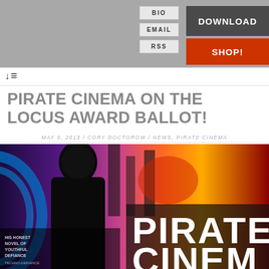BIO | EMAIL | RSS | DOWNLOAD | SHOP!
↓≡
PIRATE CINEMA ON THE LOCUS AWARD BALLOT!
MAY 9, 2013 / CORY DOCTOROW / NEWS, PIRATE CINEMA
[Figure (photo): Book cover of Pirate Cinema showing a hooded figure silhouette against colorful urban background with the text PIRATE CINEMA in large bold white letters]